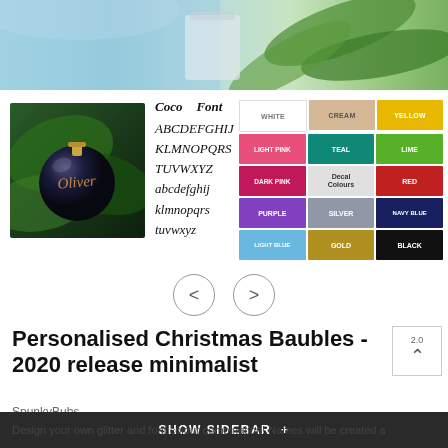[Figure (photo): Top banner photo showing green tropical leaves and a light-colored cup/vase]
[Figure (photo): A personalised dark Christmas bauble ornament with the name 'Oliver' written in gold script, hanging on a leaf background]
[Figure (illustration): Coco Font alphabet display showing uppercase ABCDEFGHIJ KLMNOPQRS TUVWXYZ and lowercase abcdefghij klmnopqrs tuvwxyz in italic script]
[Figure (infographic): Colour swatch grid showing: WHITE, CREAM, YELLOW, LIGHT PINK, TEAL, LIME, DARK PINK, Decal Colours (label), RED, PURPLE, SILVER, NAVY BLUE, LIGHT BLUE, GOLD, BLACK]
Personalised Christmas Baubles - 2020 release minimalist
SpunkyBubs
Design your own glitter and font colour combination! Names will be created a